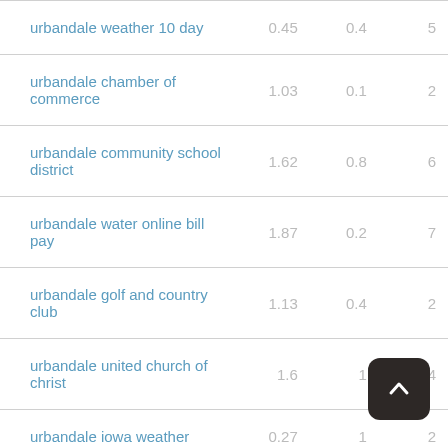| Keyword | Col2 | Col3 | Col4 |
| --- | --- | --- | --- |
| urbandale weather 10 day | 0.45 | 0.4 | 5 |
| urbandale chamber of commerce | 1.03 | 0.1 | 2 |
| urbandale community school district | 1.62 | 0.8 | 6 |
| urbandale water online bill pay | 1.87 | 0.2 | 7 |
| urbandale golf and country club | 1.13 | 0.4 | 2 |
| urbandale united church of christ | 1.6 | 1 | 4 |
| urbandale iowa weather | 0.27 | 1 | 2 |
| urbandale iowa hotels | 0.21 | 0.5 | … |